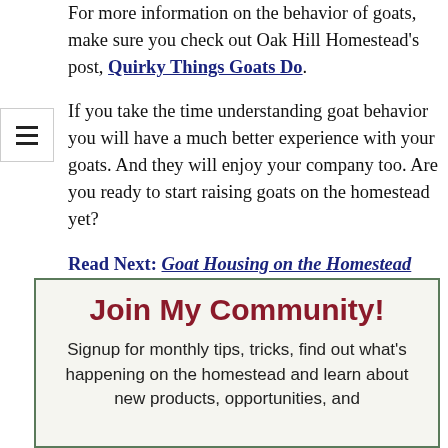For more information on the behavior of goats, make sure you check out Oak Hill Homestead's post, Quirky Things Goats Do.
If you take the time understanding goat behavior you will have a much better experience with your goats. And they will enjoy your company too. Are you ready to start raising goats on the homestead yet?
Read Next: Goat Housing on the Homestead
Join My Community!
Signup for monthly tips, tricks, find out what's happening on the homestead and learn about new products, opportunities, and